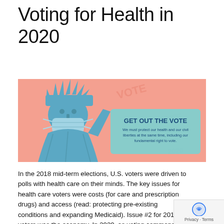Voting for Health in 2020
[Figure (illustration): Banner image of the Statue of Liberty wearing a face mask on a pink/salmon background, with a teal text box reading 'GET OUT THE VOTE' and subtext 'We must protect our health and our civil liberties at the same time, including our fundamental right to vote.']
In the 2018 mid-term elections, U.S. voters were driven to polls with health care on their minds. The key issues for health care voters were costs (for care and prescription drugs) and access (read: protecting pre-existing conditions and expanding Medicaid). Issue #2 for 2018 voters was the economy. In 2020, as voting commences in-person tomorrow on 3rd November, U.S. voters have lives and livelihoods on their minds. It's the pandemic — our physical